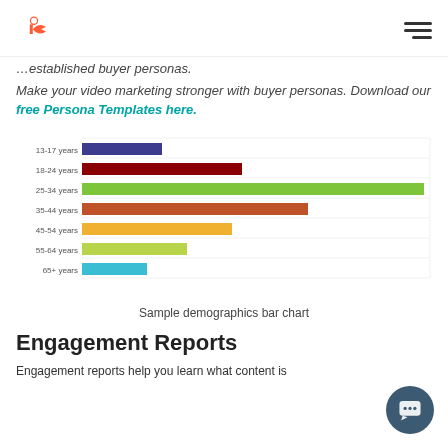HubSpot logo and navigation menu
…established buyer personas.
Make your video marketing stronger with buyer personas. Download our free Persona Templates here.
[Figure (bar-chart): Sample demographics bar chart]
Sample demographics bar chart
Engagement Reports
Engagement reports help you learn what content is